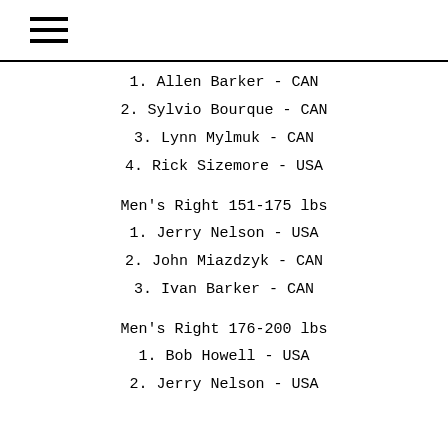≡
1. Allen Barker - CAN
2. Sylvio Bourque - CAN
3. Lynn Mylmuk - CAN
4. Rick Sizemore - USA
Men's Right 151-175 lbs
1. Jerry Nelson - USA
2. John Miazdzyk - CAN
3. Ivan Barker - CAN
Men's Right 176-200 lbs
1. Bob Howell - USA
2. Jerry Nelson - USA